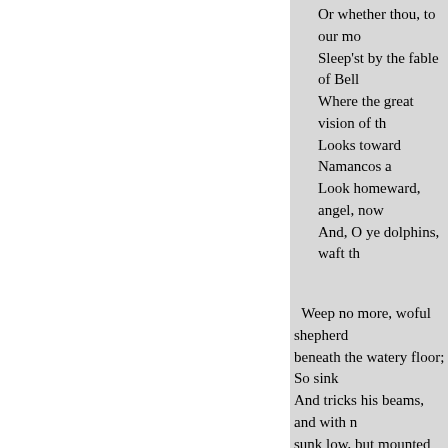Or whether thou, to our mo
Sleep'st by the fable of Bell
Where the great vision of th
Looks toward Namancos a
Look homeward, angel, now
And, O ye dolphins, waft th
Weep no more, woful shepherd beneath the watery floor; So sink And tricks his beams, and with n sunk low, but mounted high, Thr
150
waves;
Where, other groves and oth
With nectar pure his oozy lo
And hears the unexpressive
In the blest kingdoms meek
There entertain him all the s
In solemn troops, and sweet
That sing, and singing in th